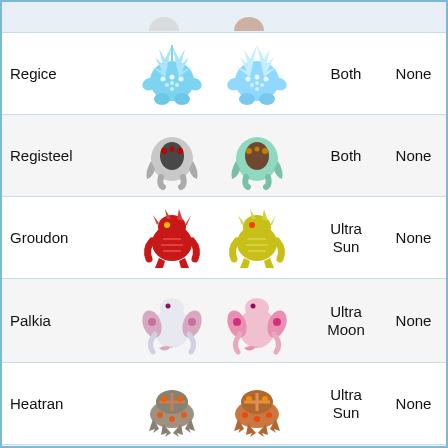| Name | Normal | Shiny | Game | Notes |
| --- | --- | --- | --- | --- |
| Regice | [sprite] | [shiny sprite] | Both | None |
| Registeel | [sprite] | [shiny sprite] | Both | None |
| Groudon | [sprite] | [shiny sprite] | Ultra Sun | None |
| Palkia | [sprite] | [shiny sprite] | Ultra Moon | None |
| Heatran | [sprite] | [shiny sprite] | Ultra Sun | None |